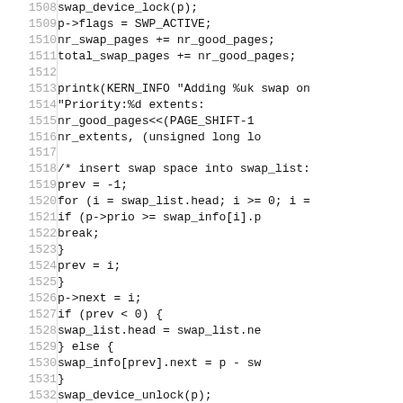[Figure (other): Source code listing (C language) showing lines 1508-1538+, implementing swap device activation, priority-ordered linked list insertion, and cleanup logic in Linux kernel swap management code.]